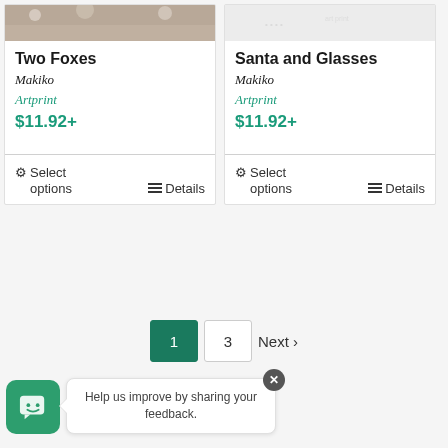[Figure (photo): Product card image for Two Foxes artwork - brownish wood texture background]
Two Foxes
Makiko
Artprint
$11.92+
⚙ Select options
≡ Details
[Figure (photo): Product card image for Santa and Glasses artwork - light/white background]
Santa and Glasses
Makiko
Artprint
$11.92+
⚙ Select options
≡ Details
1
3
Next ›
Help us improve by sharing your feedback.